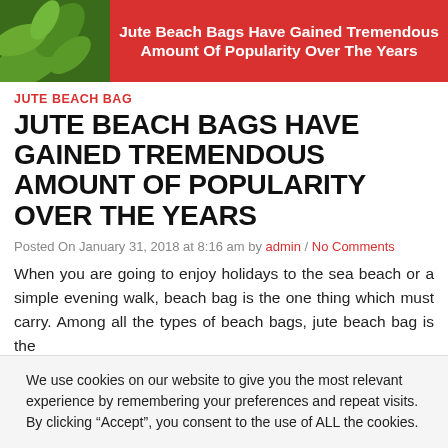[Figure (illustration): Red banner header with white bold text reading 'Jute Beach Bags Have Gained Tremendous Amount Of Popularity Over The Years', with green leaf decoration on the left side]
JUTE BEACH BAG
JUTE BEACH BAGS HAVE GAINED TREMENDOUS AMOUNT OF POPULARITY OVER THE YEARS
Posted On January 31, 2018 at 8:16 am by admin / No Comments
When you are going to enjoy holidays to the sea beach or a simple evening walk, beach bag is the one thing which must carry. Among all the types of beach bags, jute beach bag is the
We use cookies on our website to give you the most relevant experience by remembering your preferences and repeat visits. By clicking “Accept”, you consent to the use of ALL the cookies.
Do not sell my personal information.
Cookie Settings | Accept